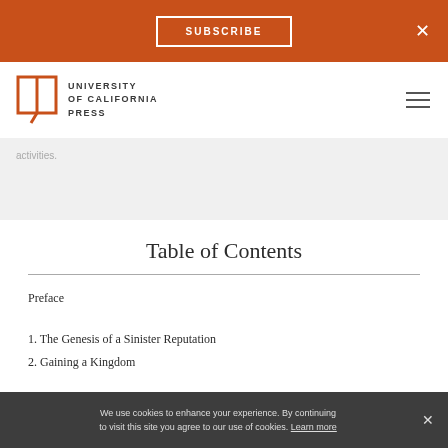SUBSCRIBE  ×
[Figure (logo): University of California Press logo with open book icon and text UNIVERSITY of CALIFORNIA PRESS]
activities.
Table of Contents
Preface
1. The Genesis of a Sinister Reputation
2. Gaining a Kingdom
We use cookies to enhance your experience. By continuing to visit this site you agree to our use of cookies. Learn more ×